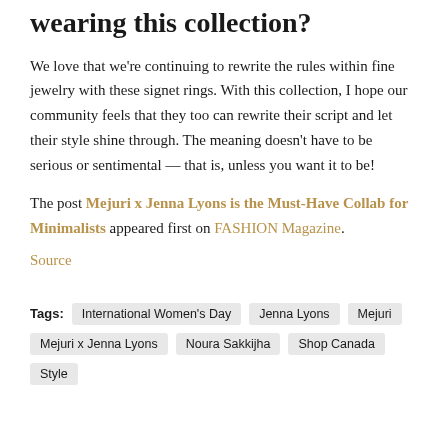wearing this collection?
We love that we're continuing to rewrite the rules within fine jewelry with these signet rings. With this collection, I hope our community feels that they too can rewrite their script and let their style shine through. The meaning doesn't have to be serious or sentimental — that is, unless you want it to be!
The post Mejuri x Jenna Lyons is the Must-Have Collab for Minimalists appeared first on FASHION Magazine.
Source
Tags: International Women's Day   Jenna Lyons   Mejuri   Mejuri x Jenna Lyons   Noura Sakkijha   Shop Canada   Style